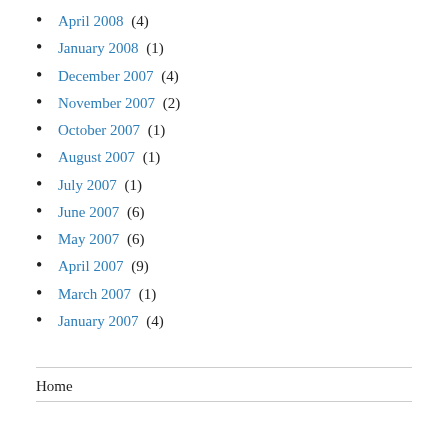April 2008 (4)
January 2008 (1)
December 2007 (4)
November 2007 (2)
October 2007 (1)
August 2007 (1)
July 2007 (1)
June 2007 (6)
May 2007 (6)
April 2007 (9)
March 2007 (1)
January 2007 (4)
Home